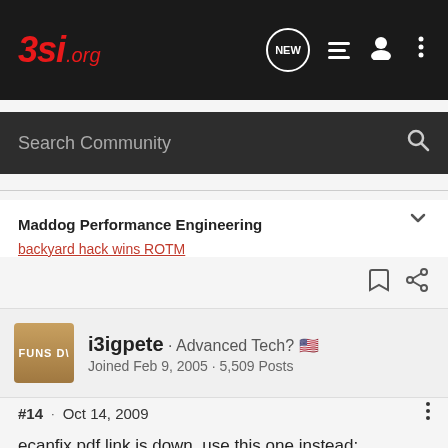3si.org
Search Community
Maddog Performance Engineering
backyard hack wins ROTM
i3igpete · Advanced Tech? 🇺🇸
Joined Feb 9, 2005 · 5,509 Posts
#14 · Oct 14, 2009
ecanfix pdf link is down. use this one instead:

http://www.3saudiofaq.com/docs/powerwindow_doorlock_wiring.pdf